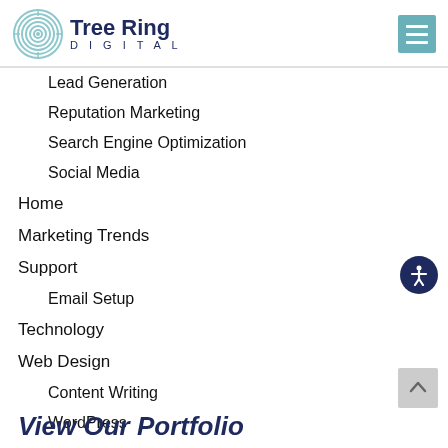[Figure (logo): Tree Ring Digital logo with circular tree ring icon and company name]
Lead Generation
Reputation Marketing
Search Engine Optimization
Social Media
Home
Marketing Trends
Support
Email Setup
Technology
Web Design
Content Writing
WordPress
View Our Portfolio